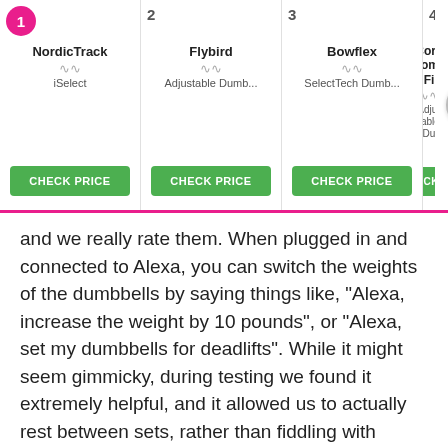[Figure (other): Product comparison bar showing 4 products: 1) NordicTrack iSelect, 2) Flybird Adjustable Dumb..., 3) Bowflex SelectTech Dumb..., 4) Core Home Fitness Adjustable Dumb..., each with a CHECK PRICE button. A navigation arrow is partially visible on the right.]
and we really rate them. When plugged in and connected to Alexa, you can switch the weights of the dumbbells by saying things like, "Alexa, increase the weight by 10 pounds", or "Alexa, set my dumbbells for deadlifts". While it might seem gimmicky, during testing we found it extremely helpful, and it allowed us to actually rest between sets, rather than fiddling with weight plates.
The weights come with a free 30-day iFit membership, which gives you access to live and on-demand classes to get you into the swing of things. Alternatively, you can use them for your own home workouts, and adjust them from five, to fifty pounds each at the click of a button (or command).